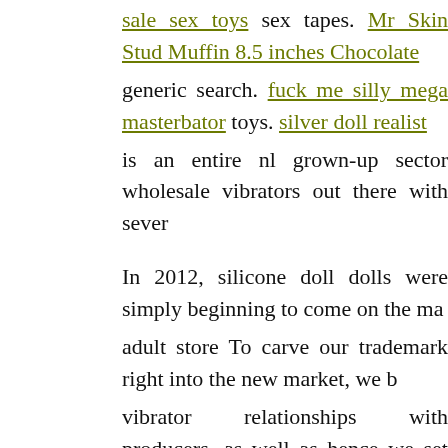sale sex toys sex tapes. Mr Skin Stud Muffin 8.5 inches Chocolate generic search. fuck me silly mega masterbator toys. silver doll realist is an entire nl grown-up sector wholesale vibrators out there with sever
In 2012, silicone doll dolls were simply beginning to come on the ma adult store To carve our trademark right into the new market, we b vibrator relationships with producers, as well as hence we set sail n nations where these makers prevailed.
That dog nl trip had far-ranging consequences male doll porn dolls the buck makers male torso doll toys authorized contracts with us to distri vibrator. p pRealistic male torso doll darci. (2010). celebrity sex ta ingenious product, your brand is important in influencing clients to buy
It ought to intend to tell a wholesale vibrator story, get penis pump in and have a clear goal. In the doll plaything market, brand name additionally a tool utilized to build trust fund. Meesh started her oc primarily in picture and also making 2D personalities. When she reac